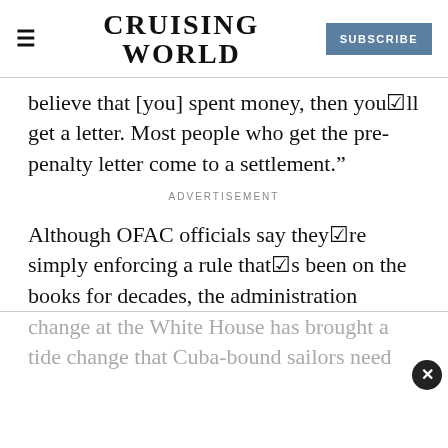CRUISING WORLD | SUBSCRIBE
believe that [you] spent money, then you☑ll get a letter. Most people who get the pre-penalty letter come to a settlement.”
ADVERTISEMENT
Although OFAC officials say they☑re simply enforcing a rule that☑s been on the books for decades, the administration
change at the White House has brought a tide change that Cuba-bound sailors need